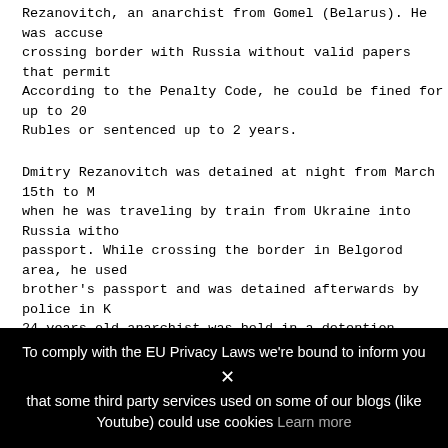Rezanovitch, an anarchist from Gomel (Belarus). He was accused of crossing border with Russia without valid papers that permit. According to the Penalty Code, he could be fined for up to 20 Rubles or sentenced up to 2 years.
Dmitry Rezanovitch was detained at night from March 15th to M when he was traveling by train from Ukraine into Russia witho passport. While crossing the border in Belgorod area, he used brother's passport and was detained afterwards by police in K 24-years old anarchist was held in a detention center for for subjected to deportation, in Avdeevo village of Kursk area. P Dmitry has been suspected in a terrorism plan in Russia, howe failed to provide any evidence required to initiate a crimina that article.
Eventually, Rezanovich was fined 15 000 Russian rubles (appro 300 euros) and deported from Russia.
Ilya Romanov
Ilya has been actively participating in anarchist movement si
To comply with the EU Privacy Laws we're bound to inform you that some third party services used on some of our blogs (like Youtube) could use cookies Learn more